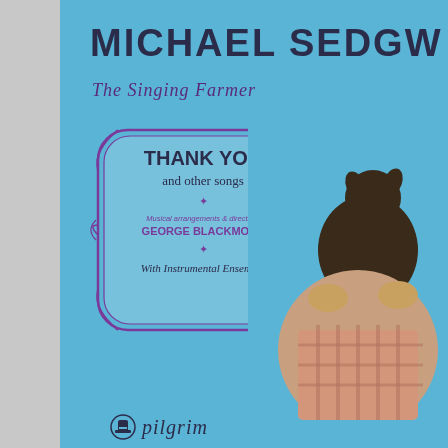MICHAEL SEDGW
The Singing Farmer
[Figure (illustration): Decorative badge/frame with purple ornamental border containing album title and credits]
THANK YOU
and other songs
★
Musical arrangements & direction:
GEORGE BLACKMORE
★
With Instrumental Ensemble
[Figure (photo): Man in plaid shirt holding a dark-colored lamb, photo on right side of album cover]
pilgrim